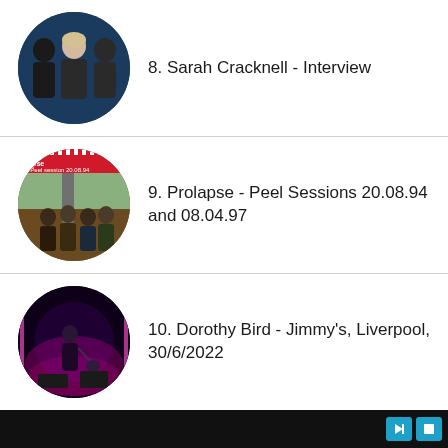8. Sarah Cracknell - Interview
9. Prolapse - Peel Sessions 20.08.94 and 08.04.97
10. Dorothy Bird - Jimmy's, Liverpool, 30/6/2022